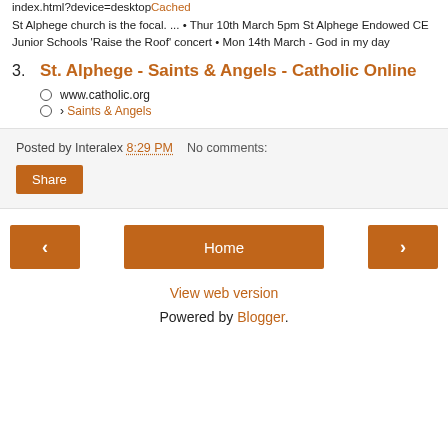index.html?device=desktopCached
St Alphege church is the focal. ... • Thur 10th March 5pm St Alphege Endowed CE Junior Schools 'Raise the Roof' concert • Mon 14th March - God in my day
3. St. Alphege - Saints & Angels - Catholic Online
www.catholic.org
› Saints & Angels
Posted by Interalex 8:29 PM   No comments:
Share
Home
View web version
Powered by Blogger.